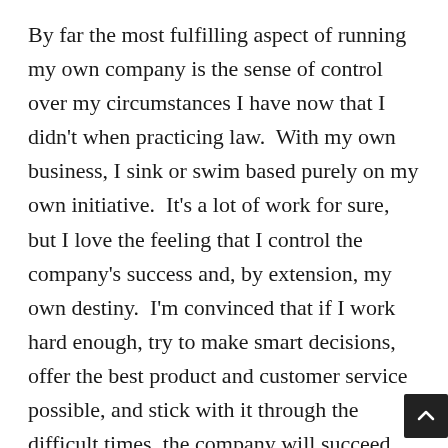By far the most fulfilling aspect of running my own company is the sense of control over my circumstances I have now that I didn't when practicing law.  With my own business, I sink or swim based purely on my own initiative.  It's a lot of work for sure, but I love the feeling that I control the company's success and, by extension, my own destiny.  I'm convinced that if I work hard enough, try to make smart decisions, offer the best product and customer service possible, and stick with it through the difficult times, the company will succeed.  So far, happily, that's been borne out.
On a more tangible level, equally fulfilling is be able to contribute to a cause I've always felt